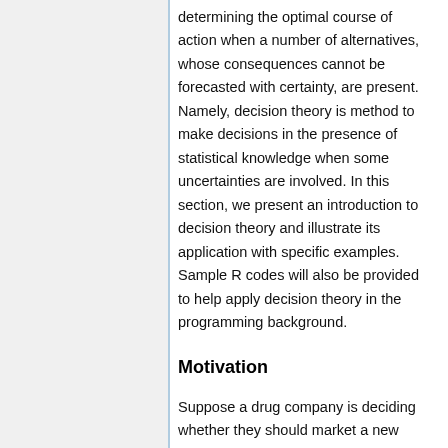determining the optimal course of action when a number of alternatives, whose consequences cannot be forecasted with certainty, are present. Namely, decision theory is method to make decisions in the presence of statistical knowledge when some uncertainties are involved. In this section, we present an introduction to decision theory and illustrate its application with specific examples. Sample R codes will also be provided to help apply decision theory in the programming background.
Motivation
Suppose a drug company is deciding whether they should market a new drug. Two of the main factors to consider including the proportion of people for which the drug will prove effective